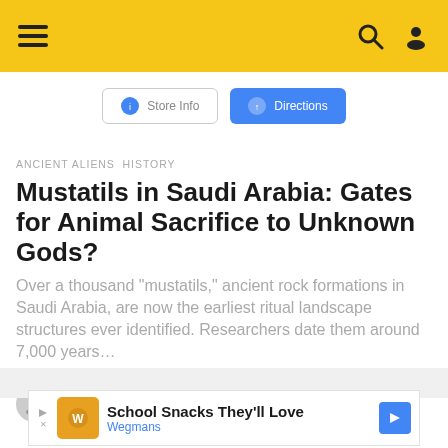Navigation bar with hamburger menu, search icon, and user icon
[Figure (screenshot): Partial UI with Store Info and Directions buttons]
ANCIENT ALIENS  HISTORY
Mustatils in Saudi Arabia: Gates for Animal Sacrifice to Unknown Gods?
Over a thousand "mustatils," ancient rock formations in Saudi Arabia, are now the earliest ritual landscape structures ever identified. Researchers date them around 7,000 years...
by Ancient Code Team 5 months ago
[Figure (screenshot): Advertisement: School Snacks They'll Love - Wegmans]